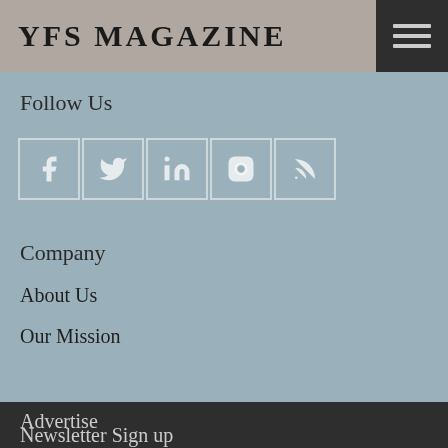YFS MAGAZINE
Follow Us
[Figure (other): Social media icons row: Facebook, Twitter, LinkedIn, Instagram, RSS]
Company
About Us
Our Mission
Advertise
Newsletter Sign up